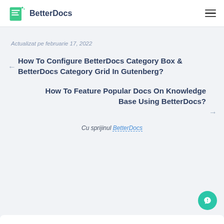BetterDocs
Actualizat pe februarie 17, 2022
How To Configure BetterDocs Category Box & BetterDocs Category Grid In Gutenberg?
How To Feature Popular Docs On Knowledge Base Using BetterDocs?
Cu sprijinul BetterDocs